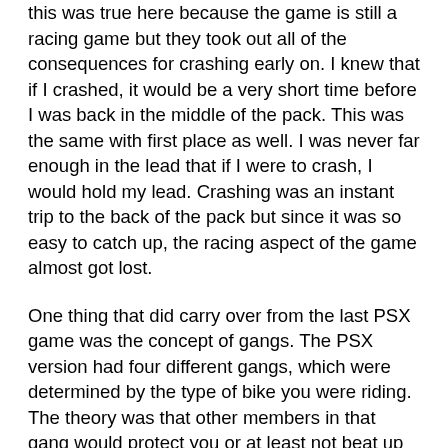this was true here because the game is still a racing game but they took out all of the consequences for crashing early on. I knew that if I crashed, it would be a very short time before I was back in the middle of the pack. This was the same with first place as well. I was never far enough in the lead that if I were to crash, I would hold my lead. Crashing was an instant trip to the back of the pack but since it was so easy to catch up, the racing aspect of the game almost got lost.
One thing that did carry over from the last PSX game was the concept of gangs. The PSX version had four different gangs, which were determined by the type of bike you were riding. The theory was that other members in that gang would protect you or at least not beat up on you as much. It was a great theory but I never really noticed a difference in treatment between the other riders. Well, this issue has been addressed in the N64 version. First off, there are two gangs or you can choose to be independent. You have to pay dues to belong to a gang but it is money well spent. I started out playing the first three levels as an independent and the vision here were bit more serious has been addressed